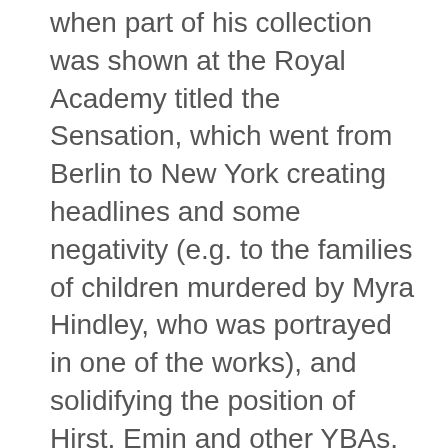when part of his collection was shown at the Royal Academy titled the Sensation, which went from Berlin to New York creating headlines and some negativity (e.g. to the families of children murdered by Myra Hindley, who was portrayed in one of the works), and solidifying the position of Hirst, Emin and other YBAs.
The Saatchi Gallery has been featured in a list of the most visited art museums in the world, derived from an attendance survey in 2014, compiled by The Art Newspaper, summing to 1,505,608 visitors...